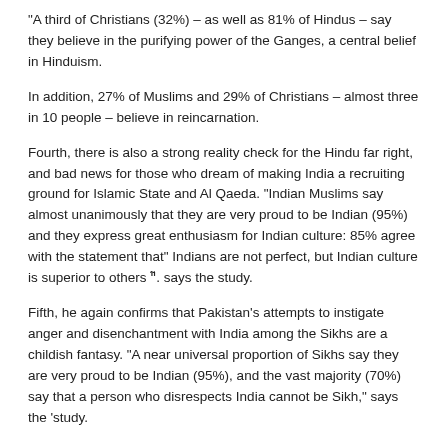“A third of Christians (32%) – as well as 81% of Hindus – say they believe in the purifying power of the Ganges, a central belief in Hinduism.
In addition, 27% of Muslims and 29% of Christians – almost three in 10 people – believe in reincarnation.
Fourth, there is also a strong reality check for the Hindu far right, and bad news for those who dream of making India a recruiting ground for Islamic State and Al Qaeda. “Indian Muslims say almost unanimously that they are very proud to be Indian (95%) and they express great enthusiasm for Indian culture: 85% agree with the statement that“ Indians are not perfect, but Indian culture is superior to others ”. says the study.
Fifth, he again confirms that Pakistan’s attempts to instigate anger and disenchantment with India among the Sikhs are a childish fantasy. “A near universal proportion of Sikhs say they are very proud to be Indian (95%), and the vast majority (70%) say that a person who disrespects India cannot be Sikh,” says the ‘study.